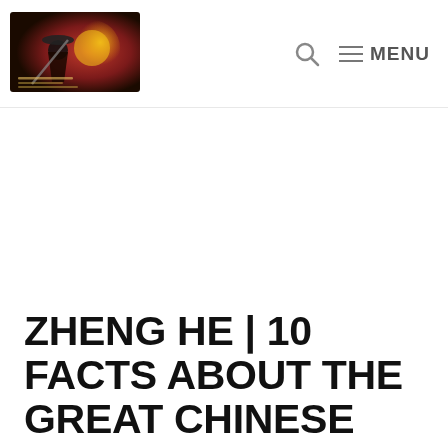Logo | Search | MENU
[Figure (logo): Website logo with martial arts / Asian themed imagery, red and dark tones with a figure in a hat]
ZHENG HE | 10 FACTS ABOUT THE GREAT CHINESE